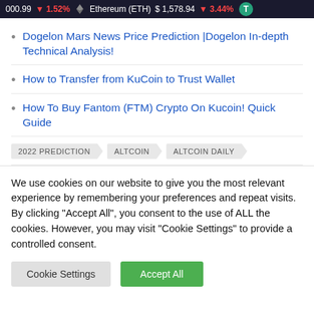000.99 ▼1.52%  Ethereum (ETH)  $1,578.94  ▼3.44%
Dogelon Mars News Price Prediction |Dogelon In-depth Technical Analysis!
How to Transfer from KuCoin to Trust Wallet
How To Buy Fantom (FTM) Crypto On Kucoin! Quick Guide
2022 PREDICTION   ALTCOIN   ALTCOIN DAILY
We use cookies on our website to give you the most relevant experience by remembering your preferences and repeat visits. By clicking "Accept All", you consent to the use of ALL the cookies. However, you may visit "Cookie Settings" to provide a controlled consent.